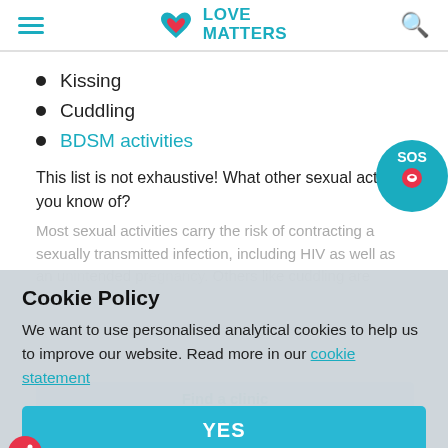Love Matters
Kissing
Cuddling
BDSM activities
This list is not exhaustive! What other sexual acts do you know of?
Most sexual activities carry the risk of contracting a sexually transmitted infection, including HIV as well as an unintended pregnancy. Others like cuddling are totally safe.
[Figure (other): SOS badge/widget - circular teal badge with SOS text and a lips map pin icon]
Cookie Policy
We want to use personalised analytical cookies to help us to improve our website. Read more in our cookie statement
YES